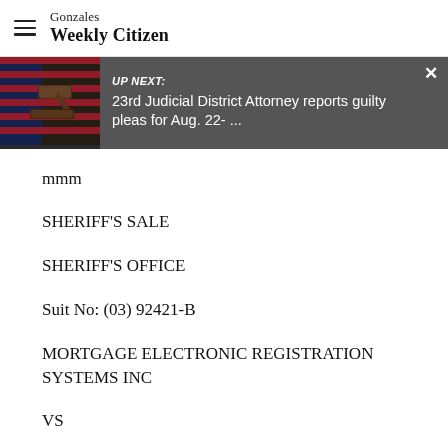Gonzales Weekly Citizen
[Figure (screenshot): UP NEXT banner with thumbnail image of a gavel and US flag, showing article: '23rd Judicial District Attorney reports guilty pleas for Aug. 22- ...']
mmm
SHERIFF'S SALE
SHERIFF'S OFFICE
Suit No: (03) 92421-B
MORTGAGE ELECTRONIC REGISTRATION SYSTEMS INC
VS